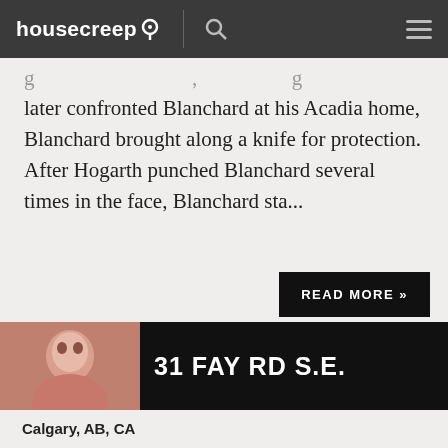housecreep
later confronted Blanchard at his Acadia home, Blanchard brought along a knife for protection. After Hogarth punched Blanchard several times in the face, Blanchard sta...
READ MORE »
31 FAY RD S.E.
Calgary, AB, CA
crime
death
homicide
A family's tragedy played out for years in the